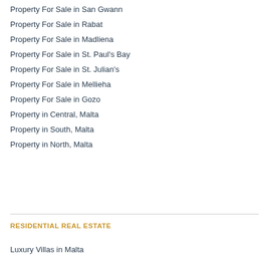Property For Sale in San Gwann
Property For Sale in Rabat
Property For Sale in Madliena
Property For Sale in St. Paul's Bay
Property For Sale in St. Julian's
Property For Sale in Mellieha
Property For Sale in Gozo
Property in Central, Malta
Property in South, Malta
Property in North, Malta
RESIDENTIAL REAL ESTATE
Luxury Villas in Malta